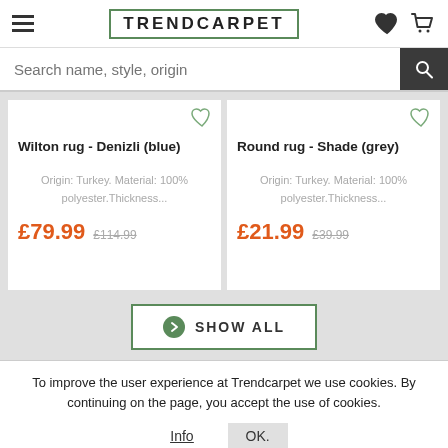TRENDCARPET
Search name, style, origin
Wilton rug - Denizli (blue)
Origin: Turkey. Material: 100% polyester.Thickness...
£79.99  £114.99
Round rug - Shade (grey)
Origin: Turkey. Material: 100% polyester.Thickness...
£21.99  £39.99
SHOW ALL
To improve the user experience at Trendcarpet we use cookies. By continuing on the page, you accept the use of cookies.
Info  OK.